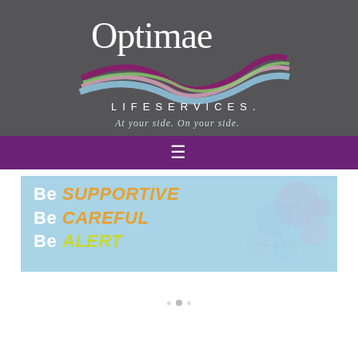[Figure (logo): Optimae LifeServices logo on dark gray background. Text reads 'Optimae LIFESERVICES. At your side. On your side.' with colorful ribbon/wave graphic.]
[Figure (infographic): Purple horizontal navigation bar with hamburger menu icon (three horizontal lines) centered.]
[Figure (infographic): Light blue banner with text: 'Be SUPPORTIVE / Be CAREFUL / Be ALERT' on left side, and decorative circular molecule/network graphic on the right side in light purple/blue.]